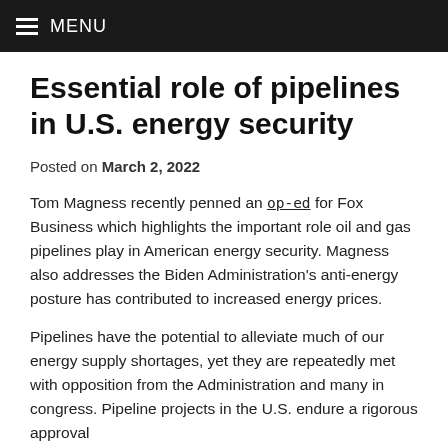MENU
Essential role of pipelines in U.S. energy security
Posted on March 2, 2022
Tom Magness recently penned an op-ed for Fox Business which highlights the important role oil and gas pipelines play in American energy security. Magness also addresses the Biden Administration's anti-energy posture has contributed to increased energy prices.
Pipelines have the potential to alleviate much of our energy supply shortages, yet they are repeatedly met with opposition from the Administration and many in congress. Pipeline projects in the U.S. endure a rigorous approval process and regulatory oversight. The performance and